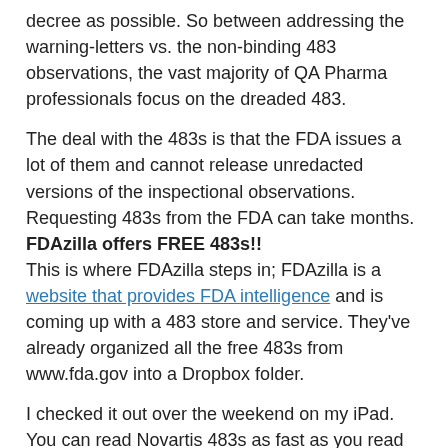decree as possible. So between addressing the warning-letters vs. the non-binding 483 observations, the vast majority of QA Pharma professionals focus on the dreaded 483.
The deal with the 483s is that the FDA issues a lot of them and cannot release unredacted versions of the inspectional observations. Requesting 483s from the FDA can take months.
FDAzilla offers FREE 483s!!
This is where FDAzilla steps in; FDAzilla is a website that provides FDA intelligence and is coming up with a 483 store and service. They've already organized all the free 483s from www.fda.gov into a Dropbox folder.
I checked it out over the weekend on my iPad. You can read Novartis 483s as fast as you read emails:
[Figure (other): Light gray rectangular placeholder image bar]
Here's the Genzyme's infamous 2009 Form 483. The free ones are the most-requested or deemed a public interest by the FDA.